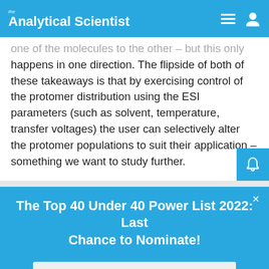the Analytical Scientist
one of the molecules to the other – but this only happens in one direction. The flipside of both of these takeaways is that by exercising control of the protomer distribution using the ESI parameters (such as solvent, temperature, transfer voltages) the user can selectively alter the protomer populations to suit their application – something we want to study further.
The Top 40 Under 40 Power List 2022: Last Chance to Nominate!
Nominate Today